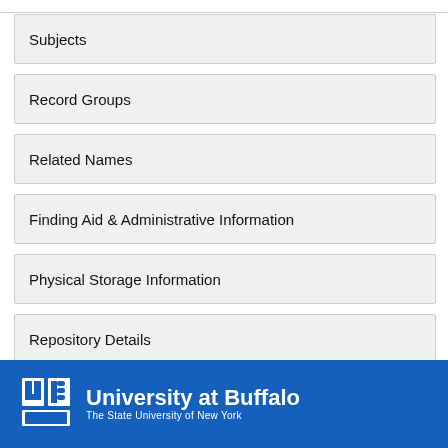Subjects
Record Groups
Related Names
Finding Aid & Administrative Information
Physical Storage Information
Repository Details
University at Buffalo — The State University of New York